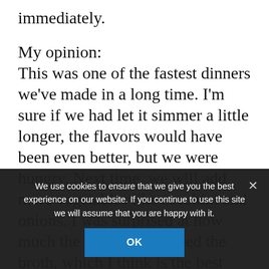immediately.
My opinion:
This was one of the fastest dinners we've made in a long time. I'm sure if we had let it simmer a little longer, the flavors would have been even better, but we were hungry. Next time, we will add more vegetables like zucchini and onions. I was surprised at how much the noodles absorbed the broth, which I think is the best part. By the time we got around to a second bowl, there wasn't a drop of broth left. To remedy this, we plan to add at least a cup more water at the beginning.
We use cookies to ensure that we give you the best experience on our website. If you continue to use this site we will assume that you are happy with it.